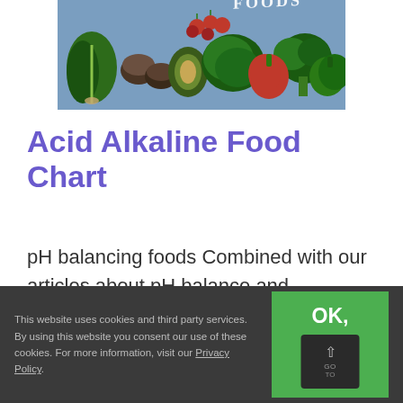[Figure (photo): Overhead view of various vegetables and foods on a blue wooden surface, including kale, cherry tomatoes, avocado, leafy greens, broccoli, red and green bell peppers. The word FOODS is visible in the background.]
Acid Alkaline Food Chart
pH balancing foods Combined with our articles about pH balance and digestion, this chart
This website uses cookies and third party services. By using this website you consent our use of these cookies. For more information, visit our Privacy Policy.